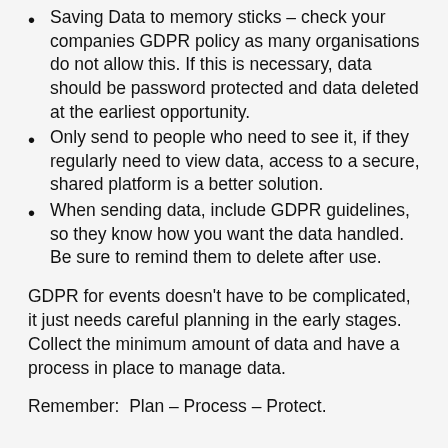Saving Data to memory sticks – check your companies GDPR policy as many organisations do not allow this.  If this is necessary, data should be password protected and data deleted at the earliest opportunity.
Only send to people who need to see it, if they regularly need to view data, access to a secure, shared platform is a better solution.
When sending data, include GDPR guidelines, so they know how you want the data handled. Be sure to remind them to delete after use.
GDPR for events doesn't have to be complicated, it just needs careful planning in the early stages. Collect the minimum amount of data and have a process in place to manage data.
Remember:  Plan – Process – Protect.